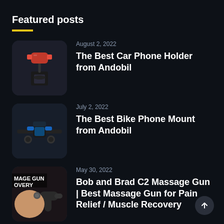Featured posts
August 2, 2022 — The Best Car Phone Holder from Andobil
July 2, 2022 — The Best Bike Phone Mount from Andobil
May 30, 2022 — Bob and Brad C2 Massage Gun | Best Massage Gun for Pain Relief / Muscle Recovery